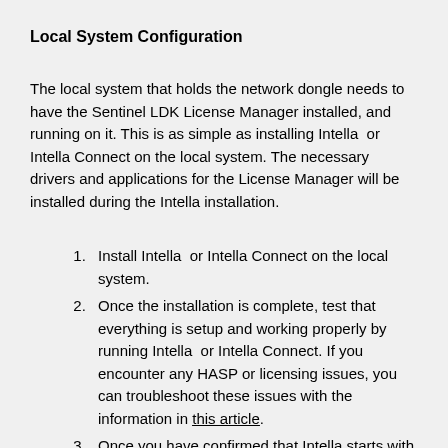Local System Configuration
The local system that holds the network dongle needs to have the Sentinel LDK License Manager installed, and running on it. This is as simple as installing Intella  or Intella Connect on the local system. The necessary drivers and applications for the License Manager will be installed during the Intella installation.
Install Intella  or Intella Connect on the local system.
Once the installation is complete, test that everything is setup and working properly by running Intella  or Intella Connect. If you encounter any HASP or licensing issues, you can troubleshoot these issues with the information in this article.
Once you have confirmed that Intella starts with no HASP or dongle issues, you need to make some changes in the